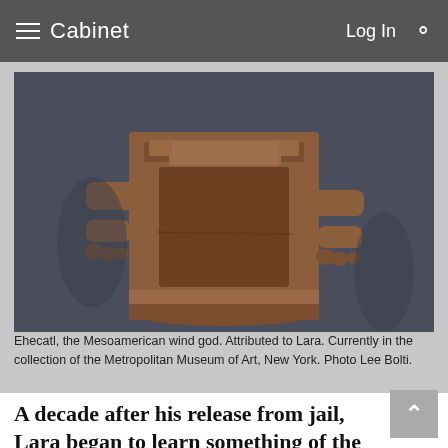Cabinet   Log In
[Figure (photo): Close-up photograph of Ehecatl, a terracotta Mesoamerican wind god figurine, showing the torso, arms, and hands of the clay sculpture against a dark blue-grey background. The figure wears cylindrical clothing and has small claw-like hands.]
Ehecatl, the Mesoamerican wind god. Attributed to Lara. Currently in the collection of the Metropolitan Museum of Art, New York. Photo Lee Bolti.
A decade after his release from jail, Lara began to learn something of the fate of the approximately 40,000 pieces he claims to